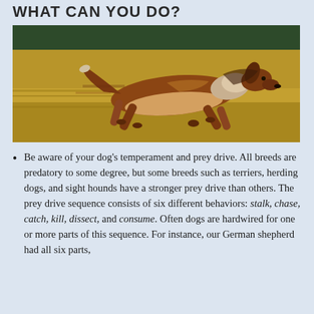WHAT CAN YOU DO?
[Figure (photo): A Rough Collie (similar to Lassie) running at full gallop across an open field, photographed in motion blur with a golden-brown background.]
Be aware of your dog's temperament and prey drive. All breeds are predatory to some degree, but some breeds such as terriers, herding dogs, and sight hounds have a stronger prey drive than others. The prey drive sequence consists of six different behaviors: stalk, chase, catch, kill, dissect, and consume. Often dogs are hardwired for one or more parts of this sequence. For instance, our German shepherd had all six parts,